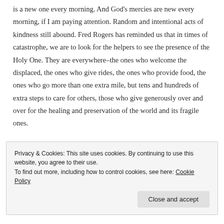is a new one every morning. And God's mercies are new every morning, if I am paying attention. Random and intentional acts of kindness still abound. Fred Rogers has reminded us that in times of catastrophe, we are to look for the helpers to see the presence of the Holy One. They are everywhere–the ones who welcome the displaced, the ones who give rides, the ones who provide food, the ones who go more than one extra mile, but tens and hundreds of extra steps to care for others, those who give generously over and over for the healing and preservation of the world and its fragile ones.
Privacy & Cookies: This site uses cookies. By continuing to use this website, you agree to their use. To find out more, including how to control cookies, see here: Cookie Policy